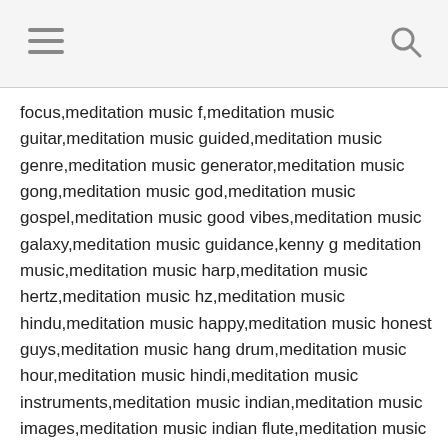[hamburger menu] [search icon]
focus,meditation music f,meditation music guitar,meditation music guided,meditation music genre,meditation music generator,meditation music gong,meditation music god,meditation music gospel,meditation music good vibes,meditation music galaxy,meditation music guidance,kenny g meditation music,meditation music harp,meditation music hertz,meditation music hz,meditation music hindu,meditation music happy,meditation music honest guys,meditation music hang drum,meditation music hour,meditation music hindi,meditation music instruments,meditation music indian,meditation music images,meditation music indian flute,meditation music itunes,meditation music international,meditation music isha,meditation music in youtube,meditation music i am,meditation music inner peace,i am meditation music,meditation music japanese,meditation music joe dispenza,meditation music jazz,meditation music jesus,meditation music jason stephenson,meditation music japanese flute,meditation music